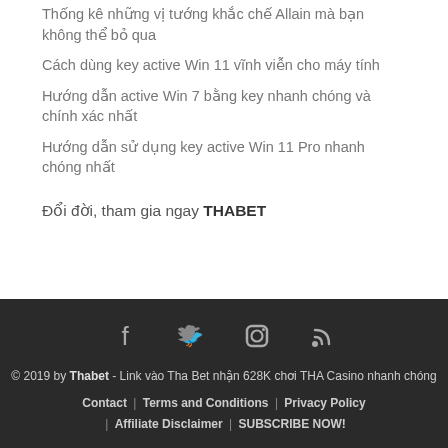Thống kê những vị tướng khắc chế Allain mà bạn không thể bỏ qua
Cách dùng key active Win 11 vĩnh viễn cho máy tính
Hướng dẫn active Win 7 bằng key nhanh chóng và chính xác nhất
Hướng dẫn sử dụng key active Win 11 Pro nhanh chóng nhất
Đổi đời, tham gia ngay THABET
[Figure (other): Social media icons: Facebook, Twitter, Instagram, RSS]
© 2019 by Thabet - Link vào Tha Bet nhận 628K chơi THA Casino nhanh chóng | Contact | Terms and Conditions | Privacy Policy | Affiliate Disclaimer | SUBSCRIBE NOW!